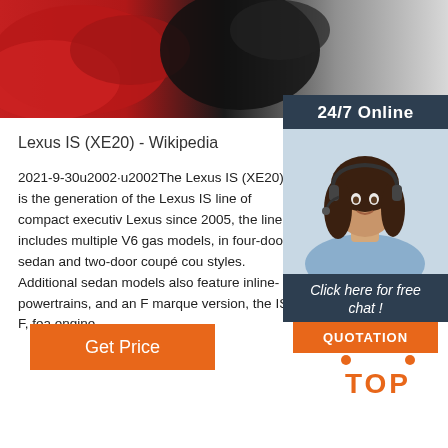[Figure (photo): Top banner image showing red and black car parts / wheels against a grey background]
[Figure (infographic): 24/7 Online chat sidebar widget with photo of woman wearing headset, 'Click here for free chat!' text, and orange QUOTATION button]
Lexus IS (XE20) - Wikipedia
2021-9-30u2002·u2002The Lexus IS (XE20) is the generation of the Lexus IS line of compact executive Lexus since 2005, the line includes multiple V6 gas models, in four-door sedan and two-door coupé cou styles. Additional sedan models also feature inline-powertrains, and an F marque version, the IS F, fea engine.
[Figure (illustration): Orange 'Get Price' button]
[Figure (logo): Orange TOP logo with dots forming a triangle above the word TOP]